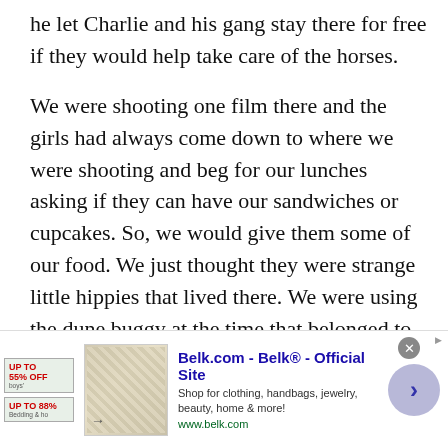he let Charlie and his gang stay there for free if they would help take care of the horses.
We were shooting one film there and the girls had always come down to where we were shooting and beg for our lunches asking if they can have our sandwiches or cupcakes. So, we would give them some of our food. We just thought they were strange little hippies that lived there. We were using the dune buggy at the time that belonged to my friend and fellow stuntman Bud Cardos. We were using it as a camera car and it broke down. So, I told Patricia
[Figure (screenshot): Advertisement banner for Belk.com - Belk® - Official Site. Shows discount badges, a product image (bedding), site title in blue bold text, description 'Shop for clothing, handbags, jewelry, beauty, home & more!', URL www.belk.com, a close (X) button, and a navigation arrow button.]